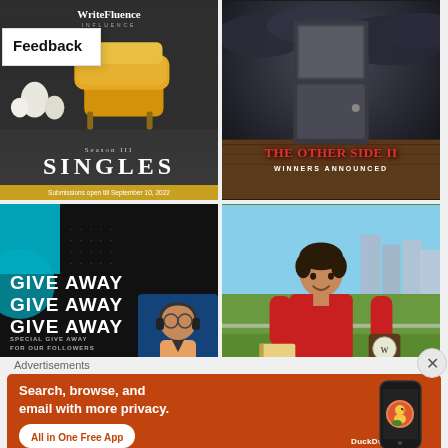[Figure (screenshot): Feedback button/label overlay on top-left of image grid]
[Figure (photo): WriteFluence Singles Season III anthology submission poster with yellow chair on dark background, text: Season III SINGLES, Submissions open till September 10, 2022]
[Figure (photo): The Other Side II horror anthology cover - white door on dark stormy background with red text: THE OTHER SIDE II, WINNERS ANNOUNCED]
[Figure (photo): Giveaway promotional graphic - dark background with cyan accent, bold white text: GIVE AWAY GIVE AWAY GIVE AWAY, SPECIAL GIVE AWAY FOR OUR FOLLOWERS, GET IT NOW]
[Figure (photo): Woman in red shirt holding a book and award/shield trophy, standing outdoors with green fields and buildings behind her]
Advertisements
[Figure (infographic): DuckDuckGo advertisement banner with orange/red background: Search, browse, and email with more privacy. All in One Free App. Shows DuckDuckGo logo and phone mockup.]